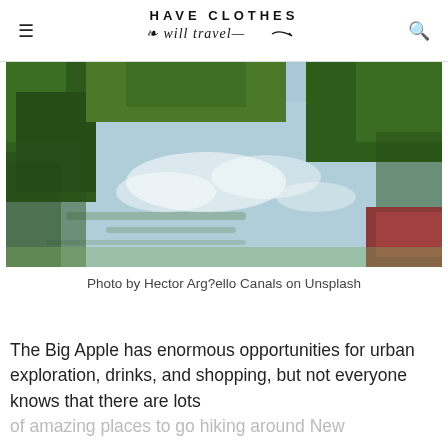HAVE CLOTHES will travel
[Figure (photo): A scenic pond or canal with reflections of clouds and sky on the water surface, surrounded by lush green trees and vegetation. A red boat or structure is visible in the lower right corner.]
Photo by Hector Arg?ello Canals on Unsplash
The Big Apple has enormous opportunities for urban exploration, drinks, and shopping, but not everyone knows that there are lots of amazing places to go hiking around New